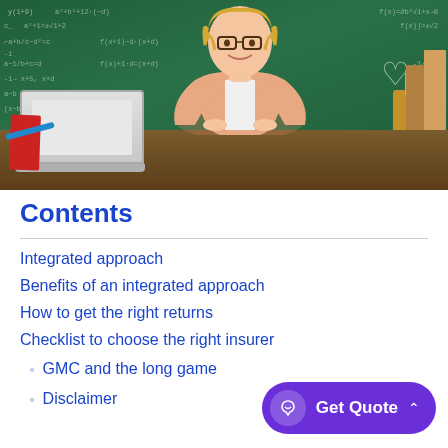[Figure (photo): A smiling young woman with glasses and blonde hair wearing a pink cardigan, sitting at a desk with a laptop in front of a green chalkboard covered in math equations and formulas.]
Contents
Integrated approach
Benefits of an integrated approach
How to get the right returns
Checklist to choose the right insurer
GMC and the long game
Disclaimer